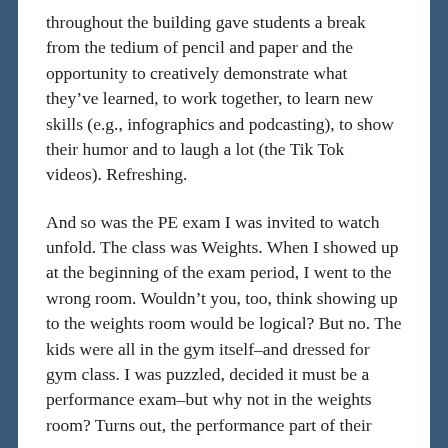throughout the building gave students a break from the tedium of pencil and paper and the opportunity to creatively demonstrate what they've learned, to work together, to learn new skills (e.g., infographics and podcasting), to show their humor and to laugh a lot (the Tik Tok videos). Refreshing.
And so was the PE exam I was invited to watch unfold. The class was Weights. When I showed up at the beginning of the exam period, I went to the wrong room. Wouldn't you, too, think showing up to the weights room would be logical? But no. The kids were all in the gym itself–and dressed for gym class. I was puzzled, decided it must be a performance exam–but why not in the weights room? Turns out, the performance part of their